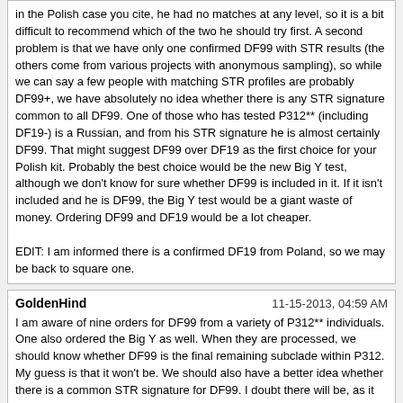in the Polish case you cite, he had no matches at any level, so it is a bit difficult to recommend which of the two he should try first. A second problem is that we have only one confirmed DF99 with STR results (the others come from various projects with anonymous sampling), so while we can say a few people with matching STR profiles are probably DF99+, we have absolutely no idea whether there is any STR signature common to all DF99. One of those who has tested P312** (including DF19-) is a Russian, and from his STR signature he is almost certainly DF99. That might suggest DF99 over DF19 as the first choice for your Polish kit. Probably the best choice would be the new Big Y test, although we don't know for sure whether DF99 is included in it. If it isn't included and he is DF99, the Big Y test would be a giant waste of money. Ordering DF99 and DF19 would be a lot cheaper.

EDIT: I am informed there is a confirmed DF19 from Poland, so we may be back to square one.
GoldenHind
I am aware of nine orders for DF99 from a variety of P312** individuals. One also ordered the Big Y as well. When they are processed, we should know whether DF99 is the final remaining subclade within P312. My guess is that it won't be. We should also have a better idea whether there is a common STR signature for DF99. I doubt there will be, as it appears to be pretty old, though I believe there is at least one STR signature that represents at least a portion of DF99.
greystones22
I am aware of nine orders for DF99 from a variety of P312** individuals. One also ordered the Big Y as well. When they are processed, we should know whether DF99 is the final remaining subclade within P312. My guess is that it won't be. We should also have a better idea whether there is a common STR signature for DF99. I doubt there will be, as it appears to be pretty old, though I believe there is at least one STR signature that represents at least a portion of DF99.